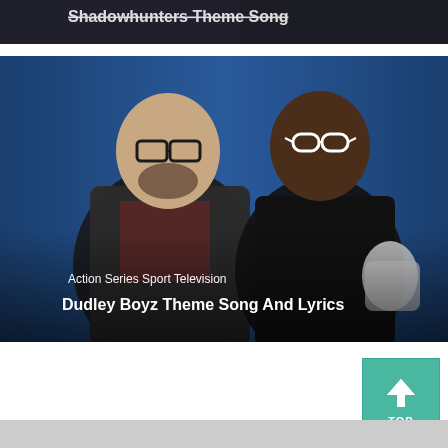[Figure (photo): Top strip image partially visible - Shadowhunters Theme Song thumbnail, dark/moody image with text overlay]
[Figure (photo): Photo of Dudley Boyz - two wrestlers posed against blue background. Left: heavyset white man with glasses, dark jacket with red shirt. Right: Black man with white-framed glasses, black t-shirt, hand wraps. Text overlay reads 'Action Series Sport Television' and 'Dudley Boyz Theme Song And Lyrics']
[Figure (other): Teal/green 'TOP' button with upward arrow chevron icon, used for scroll-to-top navigation]
[Figure (photo): Bottom strip - partial image barely visible at page bottom]